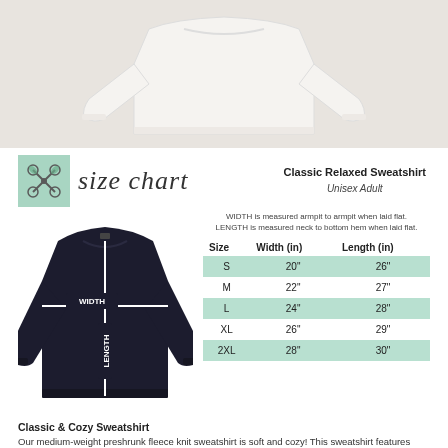[Figure (photo): White crewneck sweatshirt laid flat on a light background, photographed from above.]
[Figure (illustration): Mint green box with crossed racquet/floral icon logo. Next to it cursive text 'size chart'. To the right: 'Classic Relaxed Sweatshirt' in bold, 'Unisex Adult' in italic.]
WIDTH is measured armpit to armpit when laid flat. LENGTH is measured neck to bottom hem when laid flat.
| Size | Width (in) | Length (in) |
| --- | --- | --- |
| S | 20" | 26" |
| M | 22" | 27" |
| L | 24" | 28" |
| XL | 26" | 29" |
| 2XL | 28" | 30" |
[Figure (photo): Dark navy crewneck sweatshirt laid flat, annotated with WIDTH measured horizontally across chest and LENGTH measured vertically from neck to hem, shown with white lines.]
Classic & Cozy Sweatshirt
Our medium-weight preshrunk fleece knit sweatshirt is soft and cozy! This sweatshirt features double-needle